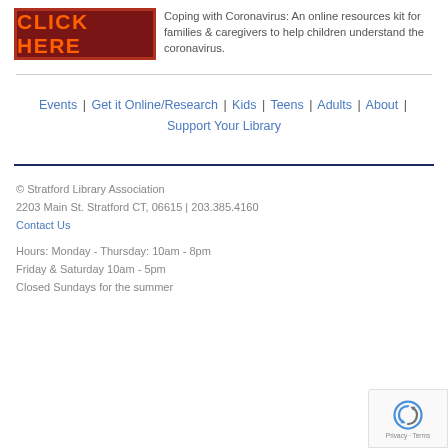[Figure (illustration): Red button with bold orange text reading CLICK HERE, with a dark red border]
Coping with Coronavirus: An online resources kit for families & caregivers to help children understand the coronavirus.
Events | Get it Online/Research | Kids | Teens | Adults | About | Support Your Library
© Stratford Library Association
2203 Main St. Stratford CT, 06615 | 203.385.4160
Contact Us
Hours: Monday - Thursday: 10am - 8pm
Friday & Saturday 10am - 5pm
Closed Sundays for the summer